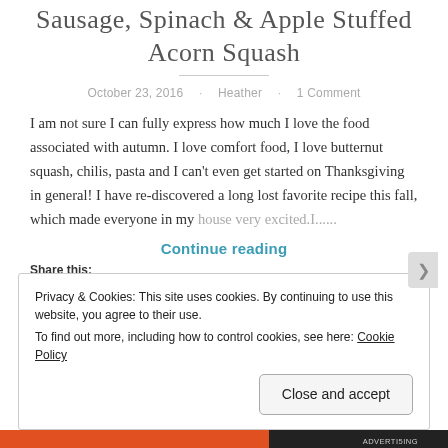Sausage, Spinach & Apple Stuffed Acorn Squash
October 23, 2016 · Heather · 1 Comment
I am not sure I can fully express how much I love the food associated with autumn. I love comfort food, I love butternut squash, chilis, pasta and I can't even get started on Thanksgiving in general! I have re-discovered a long lost favorite recipe this fall, which made everyone in my house very excited.I......
Continue reading
Share this:
Privacy & Cookies: This site uses cookies. By continuing to use this website, you agree to their use.
To find out more, including how to control cookies, see here: Cookie Policy
Close and accept